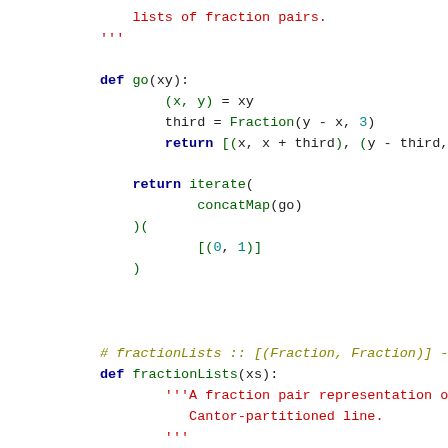Python source code showing fraction pair list generation and fractionLists function